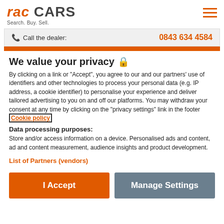RAC CARS Search. Buy. Sell.
Call the dealer: 0843 634 4584
We value your privacy 🔒
By clicking on a link or "Accept", you agree to our and our partners' use of identifiers and other technologies to process your personal data (e.g. IP address, a cookie identifier) to personalise your experience and deliver tailored advertising to you on and off our platforms. You may withdraw your consent at any time by clicking on the "privacy settings" link in the footer Cookie policy
Data processing purposes:
Store and/or access information on a device. Personalised ads and content, ad and content measurement, audience insights and product development.
List of Partners (vendors)
I Accept
Manage Settings